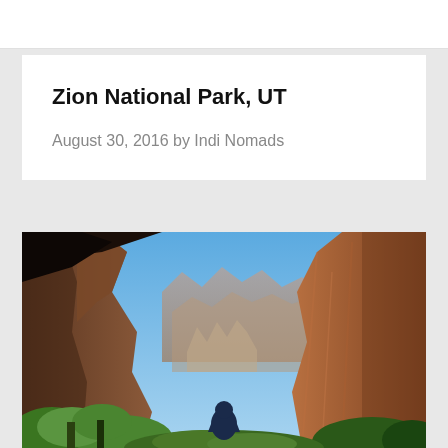Zion National Park, UT
August 30, 2016 by Indi Nomads
[Figure (photo): A hiker viewed from behind stands between towering red sandstone canyon walls at Zion National Park, with lush green vegetation below and a clear blue sky above, looking out across the canyon valley to distant layered rock formations.]